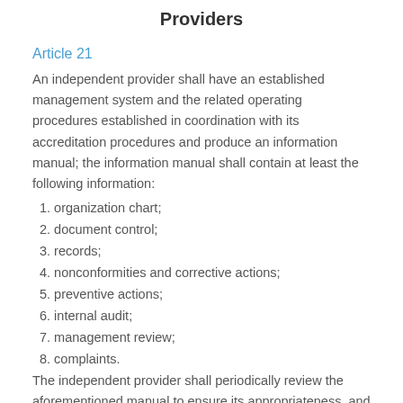Providers
Article 21
An independent provider shall have an established management system and the related operating procedures established in coordination with its accreditation procedures and produce an information manual; the information manual shall contain at least the following information:
1. organization chart;
2. document control;
3. records;
4. nonconformities and corrective actions;
5. preventive actions;
6. internal audit;
7. management review;
8. complaints.
The independent provider shall periodically review the aforementioned manual to ensure its appropriateness, and update or make amendments from time to time to suit actual